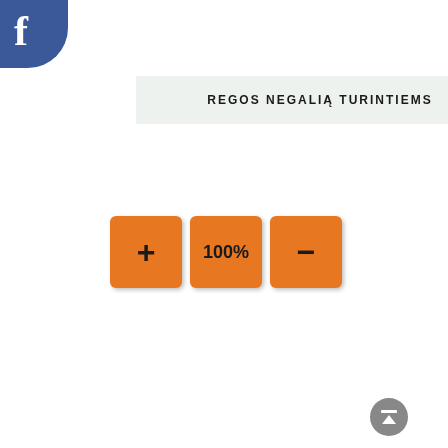[Figure (logo): Facebook logo icon in blue rounded square in top-left corner]
REGOS NEGALIĄ TURINTIEMS
[Figure (infographic): Three orange square zoom control buttons: plus (+), 100%, and minus (–)]
IŠLAISVINK KŪRYBIŠKUMĄ!
[Figure (illustration): Alytaus Jaunimo Centras banner with colorful stick figure dancers and a child painting. Text: ALYTAUS JAUNIMO CENTRAS, Facebook AlytausJaunimoCentras, www.ajc.lt]